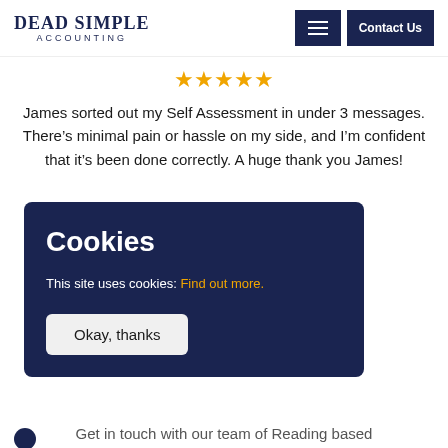DEAD SIMPLE ACCOUNTING
[Figure (other): Five orange star rating icons]
James sorted out my Self Assessment in under 3 messages. There’s minimal pain or hassle on my side, and I’m confident that it’s been done correctly. A huge thank you James!
Cookies
This site uses cookies: Find out more.
Okay, thanks
Get in touch with our team of Reading based